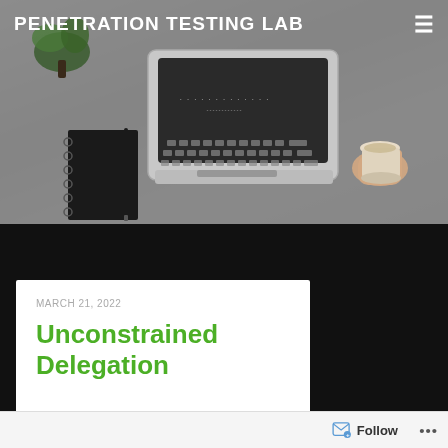PENETRATION TESTING LAB
[Figure (photo): Overhead/flat-lay photo of a laptop, notebook, pen, and a hand holding a coffee cup on a grey surface]
MARCH 21, 2022
Unconstrained Delegation